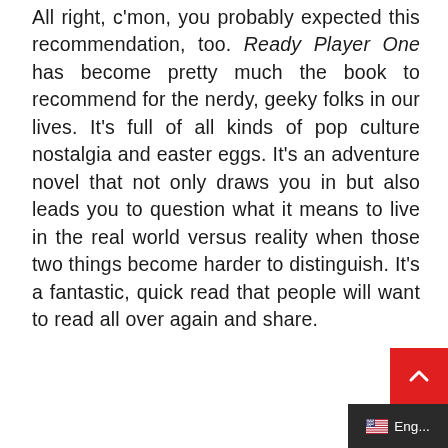All right, c'mon, you probably expected this recommendation, too. Ready Player One has become pretty much the book to recommend for the nerdy, geeky folks in our lives. It's full of all kinds of pop culture nostalgia and easter eggs. It's an adventure novel that not only draws you in but also leads you to question what it means to live in the real world versus reality when those two things become harder to distinguish. It's a fantastic, quick read that people will want to read all over again and share.